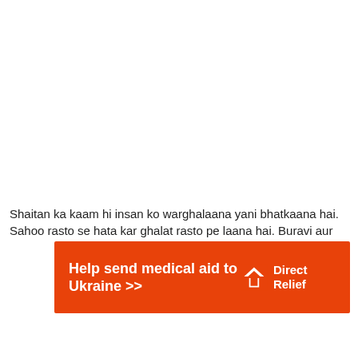Shaitan ka kaam hi insan ko warghalaana yani bhatkaana hai. Sahee rasto se hata kar ghalat rasto pe laana hai. Buravi aur...
[Figure (other): Orange advertisement banner for Direct Relief charity: 'Help send medical aid to Ukraine >>' with Direct Relief logo on right side]